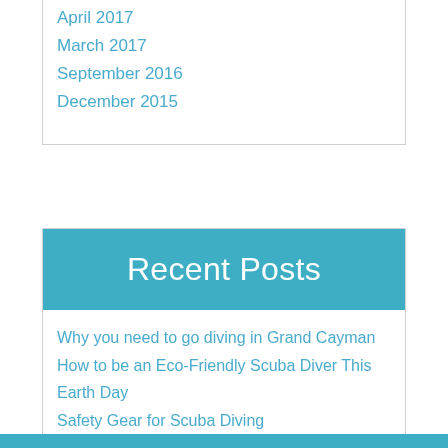April 2017
March 2017
September 2016
December 2015
Recent Posts
Why you need to go diving in Grand Cayman
How to be an Eco-Friendly Scuba Diver This Earth Day
Safety Gear for Scuba Diving
Tips to Keep in Mind When Diving in Strong Currents
Old Diving Tanks? Here's How to Reuse Them